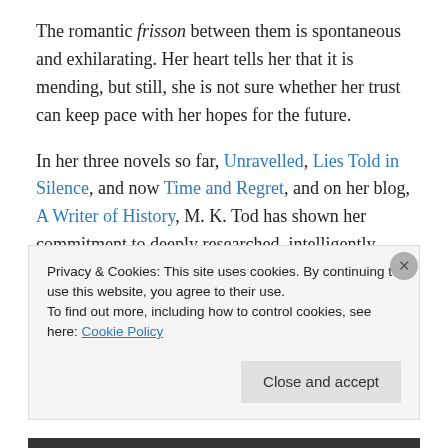The romantic frisson between them is spontaneous and exhilarating. Her heart tells her that it is mending, but still, she is not sure whether her trust can keep pace with her hopes for the future.
In her three novels so far, Unravelled, Lies Told in Silence, and now Time and Regret, and on her blog, A Writer of History, M. K. Tod has shown her commitment to deeply researched, intelligently crafted, and beautifully written historical fiction. I have read and reviewed the latter two novels (I want to read Unravelled next!) and I found both
Privacy & Cookies: This site uses cookies. By continuing to use this website, you agree to their use.
To find out more, including how to control cookies, see here: Cookie Policy